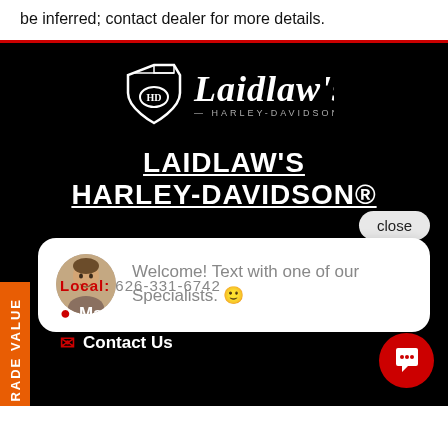be inferred; contact dealer for more details.
[Figure (logo): Laidlaw's Harley-Davidson logo — shield/bar-and-shield icon with italic script text 'Laidlaw's' and subtitle '— HARLEY-DAVIDSON —']
LAIDLAW'S HARLEY-DAVIDSON®
[Figure (screenshot): Close button (pill-shaped, light gray) with text 'close']
[Figure (screenshot): Chat popup bubble with avatar photo of young man and message: 'Welcome! Text with one of our Specialists. 🙂']
Local: 626-331-6742
📍 Map & Hours
✉ Contact Us
TRADE VALUE